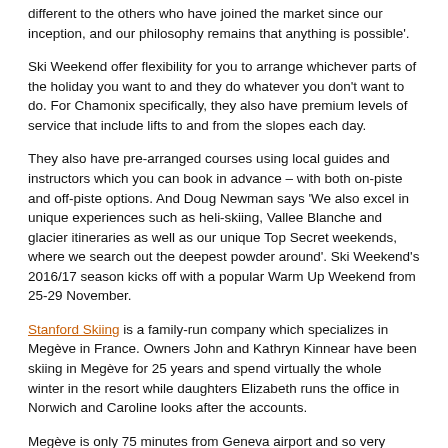different to the others who have joined the market since our inception, and our philosophy remains that anything is possible'.
Ski Weekend offer flexibility for you to arrange whichever parts of the holiday you want to and they do whatever you don't want to do. For Chamonix specifically, they also have premium levels of service that include lifts to and from the slopes each day.
They also have pre-arranged courses using local guides and instructors which you can book in advance – with both on-piste and off-piste options. And Doug Newman says 'We also excel in unique experiences such as heli-skiing, Vallee Blanche and glacier itineraries as well as our unique Top Secret weekends, where we search out the deepest powder around'. Ski Weekend's 2016/17 season kicks off with a popular Warm Up Weekend from 25-29 November.
Stanford Skiing is a family-run company which specializes in Megève in France. Owners John and Kathryn Kinnear have been skiing in Megève for 25 years and spend virtually the whole winter in the resort while daughters Elizabeth runs the office in Norwich and Caroline looks after the accounts.
Megève is only 75 minutes from Geneva airport and so very convenient for a short break. And Stanford has its own fleet of mini-buses and drivers to provide airport transfers.
Stanford run their own catered chalets and chalet-hotels and offer 3- and 4-star hotels and self-catered apartments – all available for 3- or 4-night stays. We have stayed happily in their cheap and cheerful chalet-hotels (converted from former 2- or 3-star hotels) several times and met many happy regular guests whenever we've stayed. The bar prices must be about the cheapest in the Alps – beers at 2 euros and a good bottle of wine 8 euros our most recent visit.
Around 50% of business for Ski 2 is short breaks to Champoluc in Italy's Monterosa...